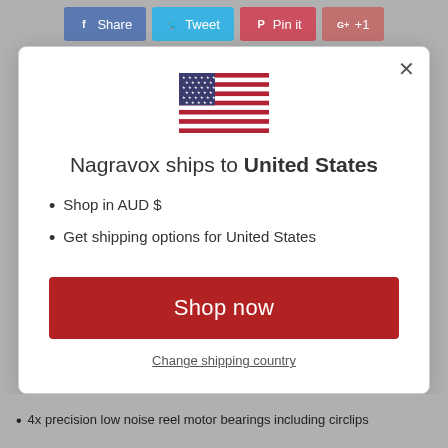[Figure (screenshot): Social sharing buttons bar: Share (Facebook), Tweet (Twitter), Pin it (Pinterest), G+ +1 (Google Plus)]
[Figure (illustration): US Flag SVG icon inside a modal dialog]
Nagravox ships to United States
Shop in AUD $
Get shipping options for United States
Shop now
Change shipping country
4x precision low noise reel motor bearings including circlips